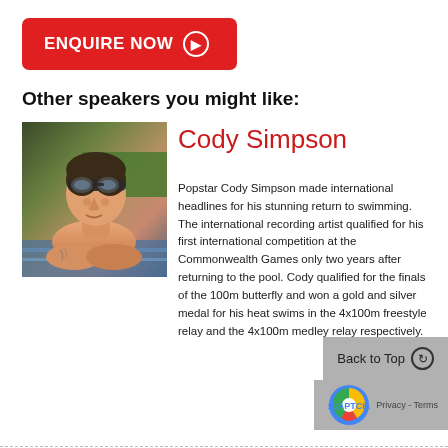[Figure (other): Red button with white text 'ENQUIRE NOW' and a circular play/arrow icon]
Other speakers you might like:
[Figure (photo): Photo of Cody Simpson, a young athletic man wearing swim goggles on his forehead, resting his arms at a swimming pool, with a green sponsor banner visible in the background]
Cody Simpson
Popstar Cody Simpson made international headlines for his stunning return to swimming. The international recording artist qualified for his first international competition at the Commonwealth Games only two years after returning to the pool. Cody qualified for the finals of the 100m butterfly and won a gold and silver medal for his heat swims in the 4x100m freestyle relay and the 4x100m medley relay respectively.
[Figure (other): Grey 'Back to Top' button with circular arrow icon, and Google reCAPTCHA badge with 'Privacy - Terms' text]